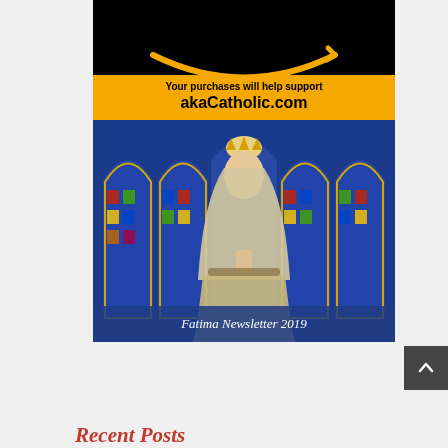[Figure (illustration): Amazon logo arc (orange) on black background, top portion of an Amazon advertisement banner]
[Figure (illustration): Yellow advertisement banner reading 'Your purchases will help support akaCatholic.com']
[Figure (photo): Statue of Our Lady of Fatima with crown, praying hands, set against colorful stained glass windows background, with caption 'Fatima Newsletter 2019' on dark blue footer bar]
Recent Posts